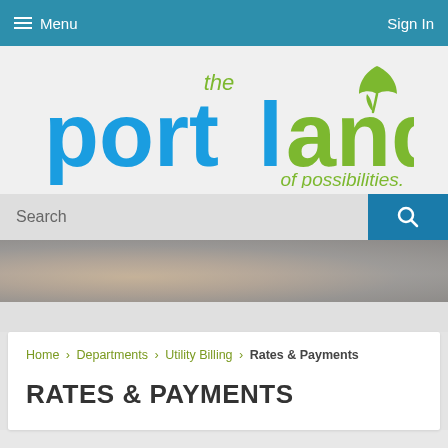Menu   Sign In
[Figure (logo): Portland 'the portland of possibilities.' logo with blue and green text and green leaf graphic]
Search
[Figure (photo): Banner/hero photograph area, partially visible at bottom of header region]
Home › Departments › Utility Billing › Rates & Payments
RATES & PAYMENTS